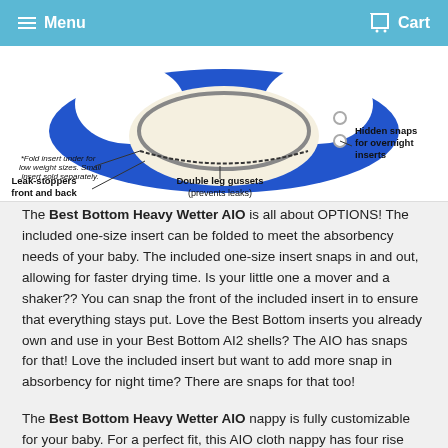Menu  Cart
[Figure (illustration): Diagram of a cloth nappy/diaper showing labels: '*Fold insert under for low weight sizes. Small insert sold separately.', 'Leak-stoppers front and back', 'Double leg gussets (prevents leaks)', 'Hidden snaps for overnight inserts'. The nappy is shown in blue, white and grey colors laid flat.]
The Best Bottom Heavy Wetter AIO is all about OPTIONS! The included one-size insert can be folded to meet the absorbency needs of your baby. The included one-size insert snaps in and out, allowing for faster drying time. Is your little one a mover and a shaker?? You can snap the front of the included insert in to ensure that everything stays put. Love the Best Bottom inserts you already own and use in your Best Bottom AI2 shells? The AIO has snaps for that! Love the included insert but want to add more snap in absorbency for night time? There are snaps for that too!
The Best Bottom Heavy Wetter AIO nappy is fully customizable for your baby. For a perfect fit, this AIO cloth nappy has four rise settings and a crossover waist snap to fit even the smallest of babies.